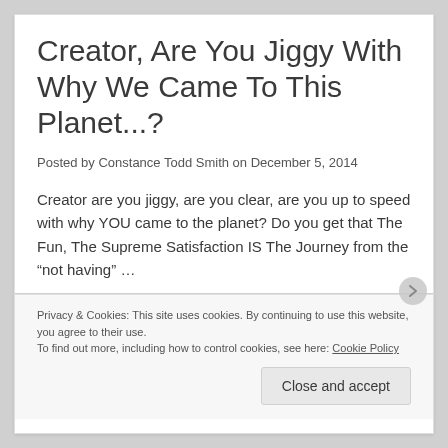Creator, Are You Jiggy With Why We Came To This Planet...?
Posted by Constance Todd Smith on December 5, 2014
Creator are you jiggy, are you clear, are you up to speed with why YOU came to the planet? Do you get that The Fun, The Supreme Satisfaction IS The Journey from the “not having” …
Privacy & Cookies: This site uses cookies. By continuing to use this website, you agree to their use.
To find out more, including how to control cookies, see here: Cookie Policy
Close and accept